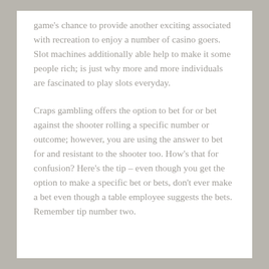game's chance to provide another exciting associated with recreation to enjoy a number of casino goers. Slot machines additionally able help to make it some people rich; is just why more and more individuals are fascinated to play slots everyday.
Craps gambling offers the option to bet for or bet against the shooter rolling a specific number or outcome; however, you are using the answer to bet for and resistant to the shooter too. How's that for confusion? Here's the tip – even though you get the option to make a specific bet or bets, don't ever make a bet even though a table employee suggests the bets. Remember tip number two.